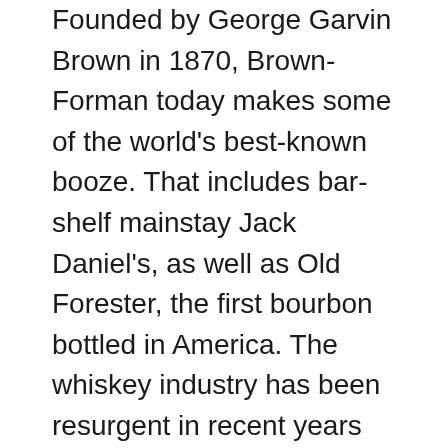Founded by George Garvin Brown in 1870, Brown-Forman today makes some of the world's best-known booze. That includes bar-shelf mainstay Jack Daniel's, as well as Old Forester, the first bourbon bottled in America. The whiskey industry has been resurgent in recent years as consumers try new small-batch whiskeys and and rediscover old ones. Brown-Forman has tapped into that trend, too, making a big marketing push for its Woodford Reserve brand (now officially the bourbon of the Kentucky Derby) and Old Forester, which had been little known. The company also produces Finlandia vodka and Herradura tequila. The Browns own an estimated 51% of the publicly traded firm; George Garvin Brown IV, a member of the fifth generation, chairs the